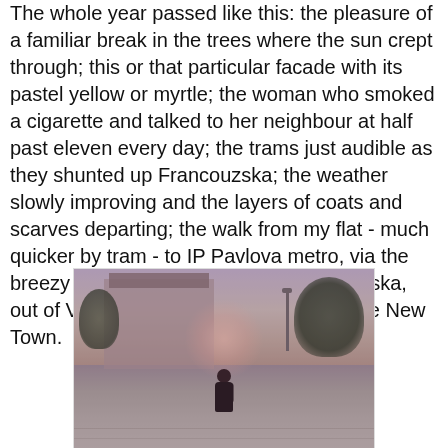The whole year passed like this: the pleasure of a familiar break in the trees where the sun crept through; this or that particular facade with its pastel yellow or myrtle; the woman who smoked a cigarette and talked to her neighbour at half past eleven every day; the trams just audible as they shunted up Francouzska; the weather slowly improving and the layers of coats and scarves departing; the walk from my flat - much quicker by tram - to IP Pavlova metro, via the breezy Namesti Miru and down Jugoslavska, out of Vinohrady and into the bustle of the New Town.
[Figure (photo): A warm, sun-drenched street photo with a lens flare, showing a person standing on a wide sidewalk or road in what appears to be a Central European city. A grand building is visible in the background left, trees line the right side, and a street lamp stands in the middle distance. The image has a purplish-warm tint typical of vintage or Instagram-style photography.]